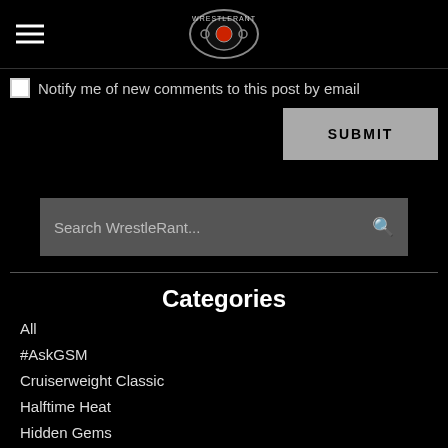WrestleRant logo and hamburger menu
Notify me of new comments to this post by email
SUBMIT
Search WrestleRant...
Categories
All
#AskGSM
Cruiserweight Classic
Halftime Heat
Hidden Gems
Lists/Rankings
Mae Young Classic
Mixed Match Challenge